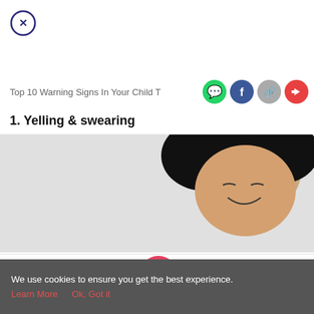[Figure (other): Close/X button circle icon in dark purple/navy]
Top 10 Warning Signs In Your Child T
[Figure (other): Share icons: WhatsApp (green), Facebook (blue), link (gray), share (red)]
1. Yelling & swearing
[Figure (photo): Photo of a child's head with dark hair, partially visible, laughing or smiling, on gray background]
[Figure (other): Bottom navigation bar with Tools, Articles, center home button (pink circle with footprints), Feed, Poll icons]
We use cookies to ensure you get the best experience.
Learn More   Ok, Got it